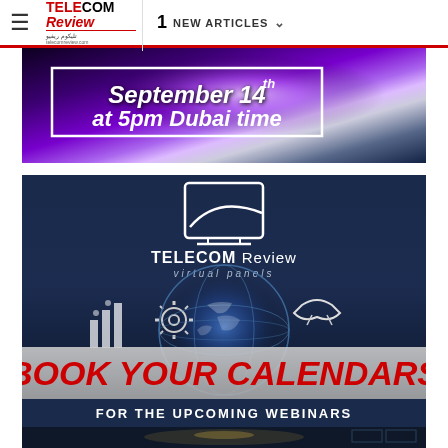≡  TELECOM Review  |  1 NEW ARTICLES ∨
[Figure (photo): Dark purple/blue gradient banner with white bordered box containing bold italic white text: 'September 14th at 5pm Dubai time']
[Figure (photo): Dark blue promotional banner for Telecom Review virtual panels. Shows monitor logo, globe graphic, icons for analytics, gears, handshake. Bold red italic text: 'BOOK YOUR CALENDARS'. White text on dark blue: 'FOR THE UPCOMING WEBINARS'. Bottom shows hands with glowing smartphone.]